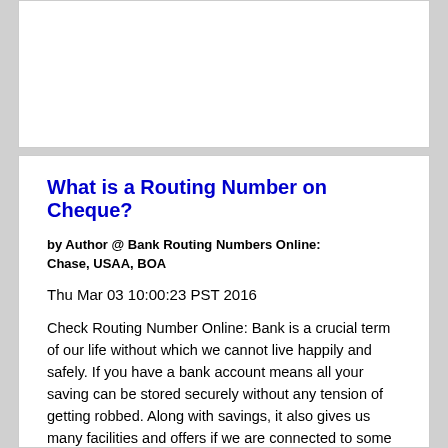What is a Routing Number on Cheque?
by Author @ Bank Routing Numbers Online: Chase, USAA, BOA
Thu Mar 03 10:00:23 PST 2016
Check Routing Number Online: Bank is a crucial term of our life without which we cannot live happily and safely. If you have a bank account means all your saving can be stored securely without any tension of getting robbed. Along with savings, it also gives us many facilities and offers if we are connected to some particular bank. Similarly, there are many leading banks in the United States, which provide many benefits if you have an account with those banks. There are two central banks, which can be stated as the